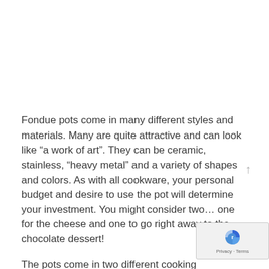Fondue pots come in many different styles and materials. Many are quite attractive and can look like “a work of art”. They can be ceramic, stainless, “heavy metal” and a variety of shapes and colors. As with all cookware, your personal budget and desire to use the pot will determine your investment. You might consider two… one for the cheese and one to go right away to the chocolate dessert!
The pots come in two different cooking types..“fuel” burning… candles or the traditional “flame can’ that keeping buffet trays warm and electric. My preferen the electric model... more even and easier to regulate heat